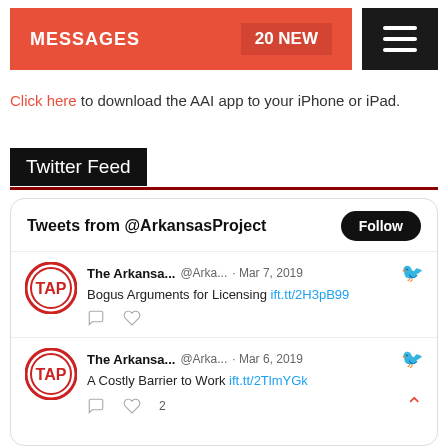[Figure (screenshot): Red messages bar showing MESSAGES label and 20 NEW badge, plus black hamburger menu button]
Click here to download the AAI app to your iPhone or iPad.
Twitter Feed
[Figure (screenshot): Twitter feed widget showing tweets from @ArkansasProject. Tweet 1: Mar 7, 2019 - Bogus Arguments for Licensing ift.tt/2H3pB99. Tweet 2: Mar 6, 2019 - A Costly Barrier to Work ift.tt/2TlmYGk (2 likes).]